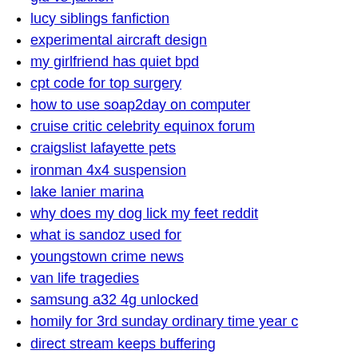gld vs jaxxon
lucy siblings fanfiction
experimental aircraft design
my girlfriend has quiet bpd
cpt code for top surgery
how to use soap2day on computer
cruise critic celebrity equinox forum
craigslist lafayette pets
ironman 4x4 suspension
lake lanier marina
why does my dog lick my feet reddit
what is sandoz used for
youngstown crime news
van life tragedies
samsung a32 4g unlocked
homily for 3rd sunday ordinary time year c
direct stream keeps buffering
ibew 702 lineman pay scale 2022
infj looking for enfp
unity voxel engine reddit
nhs accommodation hertfordshire
p144c ford f150 ecoboost
keys menu
car crashes in utah
novelist ferrante crossword clue